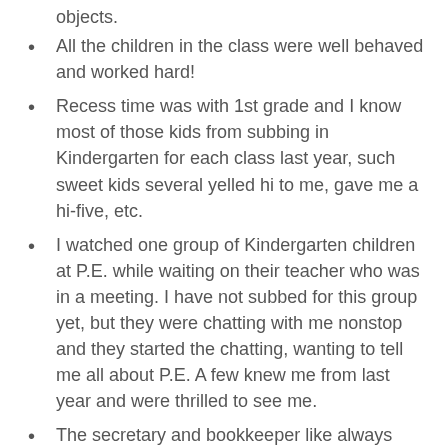objects.
All the children in the class were well behaved and worked hard!
Recess time was with 1st grade and I know most of those kids from subbing in Kindergarten for each class last year, such sweet kids several yelled hi to me, gave me a hi-five, etc.
I watched one group of Kindergarten children at P.E. while waiting on their teacher who was in a meeting.  I have not subbed for this group yet, but they were chatting with me nonstop and they started the chatting, wanting to tell me all about P.E.  A few knew me from last year and were thrilled to see me.
The secretary and bookkeeper like always thanked me for my help.
Wednesday, I subbed in Kindergarten in the afternoon at the same school.  This wasn't the group I waited in line with.
I walked in and their teacher thanked me for